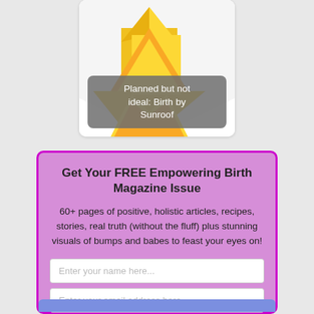[Figure (illustration): Card with yellow/gold arrow graphic and gray rounded overlay showing text 'Planned but not ideal: Birth by Sunroof']
Get Your FREE Empowering Birth Magazine Issue
60+ pages of positive, holistic articles, recipes, stories, real truth (without the fluff) plus stunning visuals of bumps and babes to feast your eyes on!
Enter your name here...
Enter your email address here...